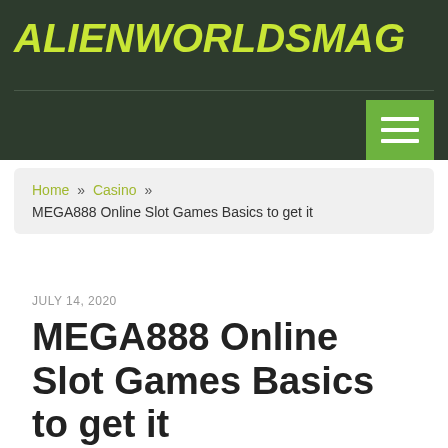AlienWorldsMag
Home » Casino » MEGA888 Online Slot Games Basics to get it
MEGA888 Online Slot Games Basics to get it
JULY 14, 2020
Club game is correct now among the clearest